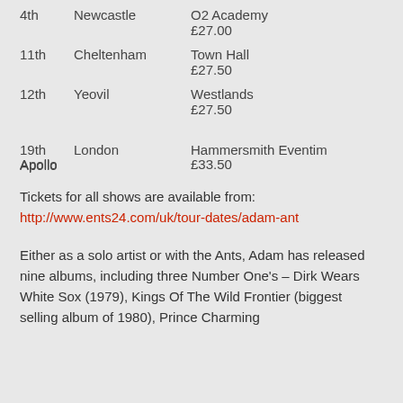| Date | City | Venue | Price |
| --- | --- | --- | --- |
| 4th | Newcastle | O2 Academy | £27.00 |
| 11th | Cheltenham | Town Hall | £27.50 |
| 12th | Yeovil | Westlands | £27.50 |
| 19th | London | Hammersmith Eventim Apollo | £33.50 |
Tickets for all shows are available from: http://www.ents24.com/uk/tour-dates/adam-ant
Either as a solo artist or with the Ants, Adam has released nine albums, including three Number One's – Dirk Wears White Sox (1979), Kings Of The Wild Frontier (biggest selling album of 1980), Prince Charming